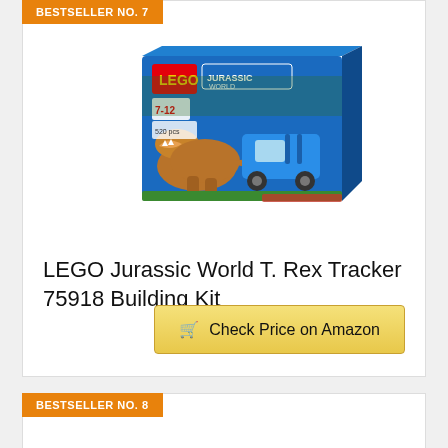BESTSELLER NO. 7
[Figure (photo): LEGO Jurassic World T. Rex Tracker 75918 Building Kit box image showing a blue vehicle and T. Rex dinosaur]
LEGO Jurassic World T. Rex Tracker 75918 Building Kit
Check Price on Amazon
BESTSELLER NO. 8